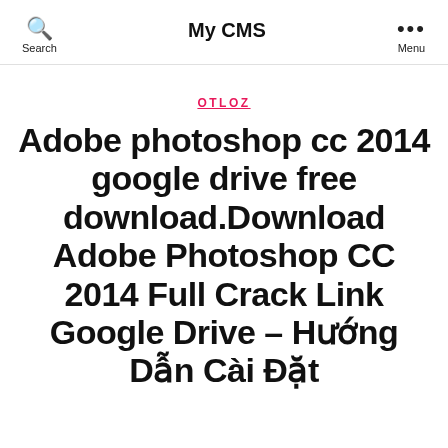Search  My CMS  Menu
OTLOZ
Adobe photoshop cc 2014 google drive free download.Download Adobe Photoshop CC 2014 Full Crack Link Google Drive – Hướng Dẫn Cài Đặt